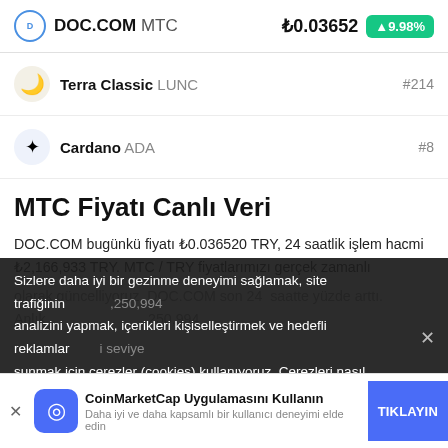DOC.COM MTC  ₺0.03652  ▲9.98%
Terra Classic LUNC  #214
Cardano ADA  #8
MTC Fiyatı Canlı Veri
DOC.COM bugünkü fiyatı ₺0.036520 TRY, 24 saatlik işlem hacmi ₺2,166,933 TRY. MTC / TRY fiyatlarımızı gerçek zamanlı olarak güncelliyoruz. DOC.COM son 24 saatte yüzde arttı. Anlık ,250,994 i seviye
Sizlere daha iyi bir gezinme deneyimi sağlamak, site trafiğinin analizini yapmak, içerikleri kişiselleştirmek ve hedefli reklamlar sunmak için çerezler (cookies) kullanıyoruz. Çerezleri nasıl kullandığımız ve bunları nasıl kontrol edebileceğiniz hakkında
CoinMarketCap Uygulamasını Kullanın
Daha iyi ve daha kapsamlı bir kullanıcı deneyimi elde edin
TIKLAYIN